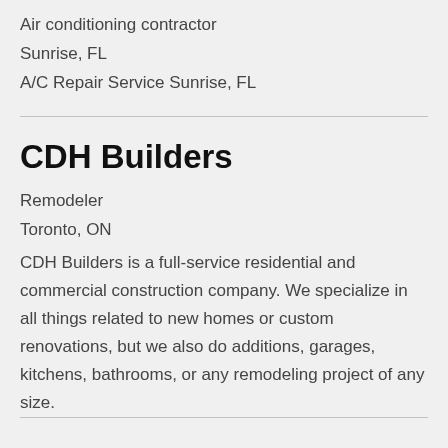Air conditioning contractor
Sunrise, FL
A/C Repair Service Sunrise, FL
CDH Builders
Remodeler
Toronto, ON
CDH Builders is a full-service residential and commercial construction company. We specialize in all things related to new homes or custom renovations, but we also do additions, garages, kitchens, bathrooms, or any remodeling project of any size.